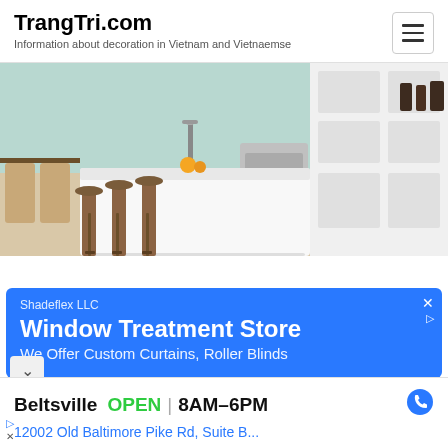TrangTri.com — Information about decoration in Vietnam and Vietnaemse
[Figure (photo): Kitchen interior with white island countertop, bar stools, stainless steel faucet, and white cabinetry with oven]
[Figure (infographic): Advertisement for Shadeflex LLC – Window Treatment Store – We Offer Custom Curtains, Roller Blinds]
Beltsville   OPEN | 8AM–6PM
12002 Old Baltimore Pike Rd, Suite B...